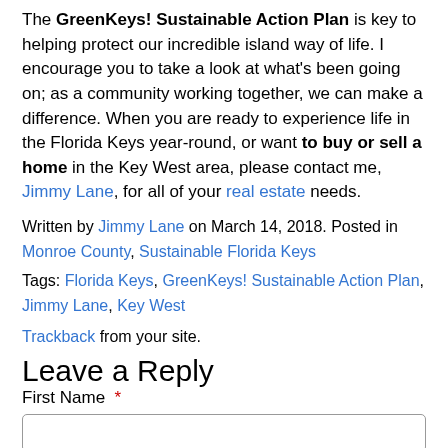The GreenKeys! Sustainable Action Plan is key to helping protect our incredible island way of life. I encourage you to take a look at what's been going on; as a community working together, we can make a difference. When you are ready to experience life in the Florida Keys year-round, or want to buy or sell a home in the Key West area, please contact me, Jimmy Lane, for all of your real estate needs.
Written by Jimmy Lane on March 14, 2018. Posted in Monroe County, Sustainable Florida Keys
Tags: Florida Keys, GreenKeys! Sustainable Action Plan, Jimmy Lane, Key West
Trackback from your site.
Leave a Reply
First Name *